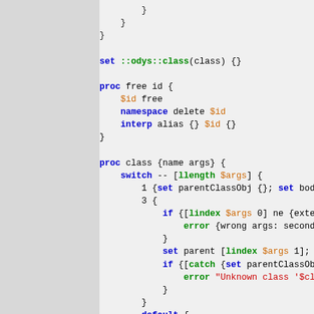[Figure (screenshot): Source code screenshot showing Tcl programming language code with syntax highlighting. The code shows procedures including 'free' and 'class' with switch statements, namespace commands, and interp alias calls.]